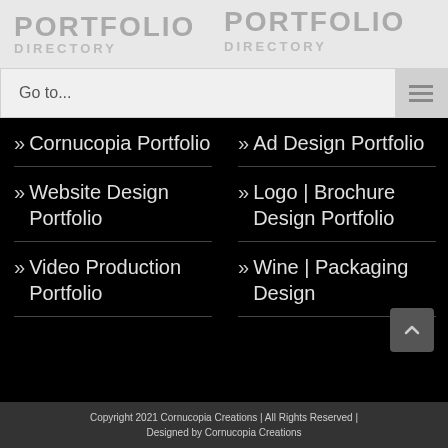PORTFOLIO
Go to...
> Cornucopia Portfolio
> Ad Design Portfolio
> Website Design Portfolio
> Logo | Brochure Design Portfolio
> Video Production Portfolio
> Wine | Packaging Design
Copyright 2021 Cornucopia Creations | All Rights Reserved | Designed by Cornucopia Creations